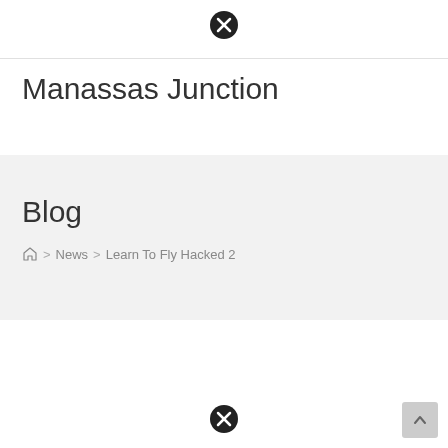[Figure (other): Close/dismiss icon (circle with X) at top center]
Manassas Junction
Blog
Home > News > Learn To Fly Hacked 2
[Figure (other): Close/dismiss icon (circle with X) at bottom center]
[Figure (other): Scroll to top button at bottom right]